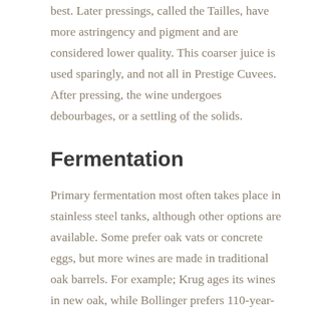best. Later pressings, called the Tailles, have more astringency and pigment and are considered lower quality. This coarser juice is used sparingly, and not all in Prestige Cuvees. After pressing, the wine undergoes debourbages, or a settling of the solids.
Fermentation
Primary fermentation most often takes place in stainless steel tanks, although other options are available. Some prefer oak vats or concrete eggs, but more wines are made in traditional oak barrels. For example; Krug ages its wines in new oak, while Bollinger prefers 110-year-old casks, adding oxidative and spicy old barrel aromas. However, too much oak overshadows the delicate nuances of Champagne, so the winemaker must be careful. Some use cultured